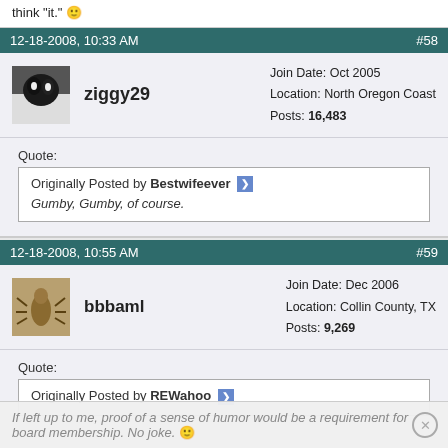think "it." 🙂
12-18-2008, 10:33 AM   #58
ziggy29
Join Date: Oct 2005
Location: North Oregon Coast
Posts: 16,483
Quote:
Originally Posted by Bestwifeever
Gumby, Gumby, of course.
12-18-2008, 10:55 AM   #59
bbbaml
Join Date: Dec 2006
Location: Collin County, TX
Posts: 9,269
Quote:
Originally Posted by REWahoo
If left up to me, proof of a sense of humor would be a requirement for board membership. No joke. 🙂